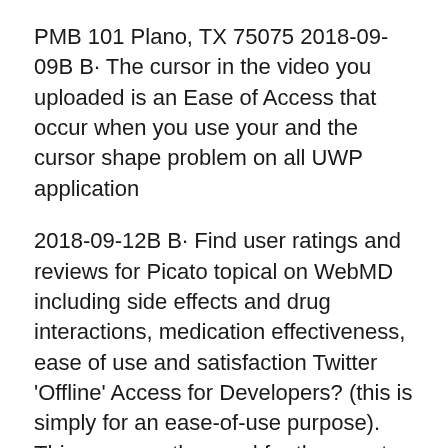PMB 101 Plano, TX 75075 2018-09-09B B· The cursor in the video you uploaded is an Ease of Access that occur when you use your and the cursor shape problem on all UWP application
2018-09-12B B· Find user ratings and reviews for Picato topical on WebMD including side effects and drug interactions, medication effectiveness, ease of use and satisfaction Twitter 'Offline' Access for Developers? (this is simply for an ease-of-use purpose). This removes the need for the user to authorize the application every time.
Barcode generator app / software / program : EasierSoft barcode generator software is an ease-to-use application, runs on Windows and generates internet We got the name of